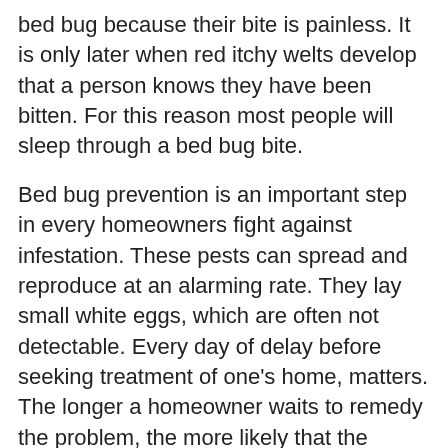bed bug because their bite is painless. It is only later when red itchy welts develop that a person knows they have been bitten. For this reason most people will sleep through a bed bug bite.
Bed bug prevention is an important step in every homeowners fight against infestation. These pests can spread and reproduce at an alarming rate. They lay small white eggs, which are often not detectable. Every day of delay before seeking treatment of one's home, matters. The longer a homeowner waits to remedy the problem, the more likely that the infestation can grow and force the homeowner to seek to more extensive and aggressive methods to treat them.
[Figure (other): Orange rounded rectangle button with phone icon and text 'Call Now' in white bold font]
Adult bugs will be rusty in color, have no wings, and